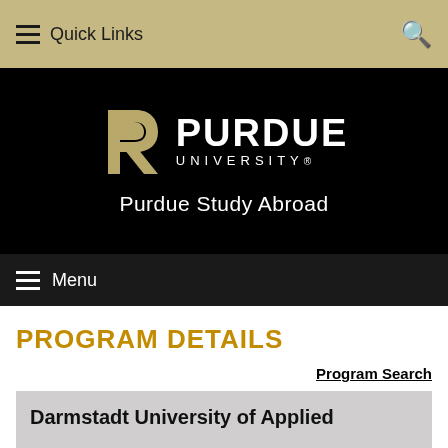Quick Links
[Figure (logo): Purdue University logo with stylized P and wordmark, with 'Purdue Study Abroad' subtitle on black background]
Menu
PROGRAM DETAILS
Program Search
Darmstadt University of Applied